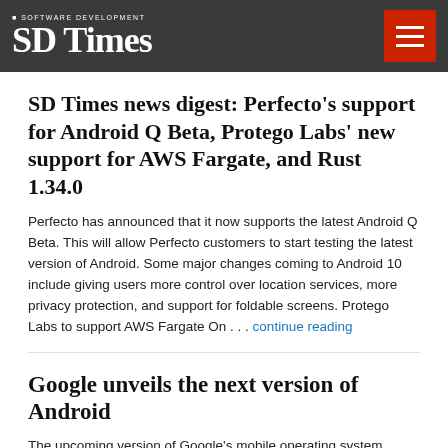SD Times — SOFTWARE DEVELOPMENT
SD Times news digest: Perfecto's support for Android Q Beta, Protego Labs' new support for AWS Fargate, and Rust 1.34.0
Perfecto has announced that it now supports the latest Android Q Beta. This will allow Perfecto customers to start testing the latest version of Android. Some major changes coming to Android 10 include giving users more control over location services, more privacy protection, and support for foldable screens. Protego Labs to support AWS Fargate On . . . continue reading
Google unveils the next version of Android
The upcoming version of Google's mobile operating system Android is now available for early adopters and developers. Early adopters can access Beta 1 of Android Q by enrolling any Pixel device and developers will have access through a preview SDK. According to Google, the release continues to focus